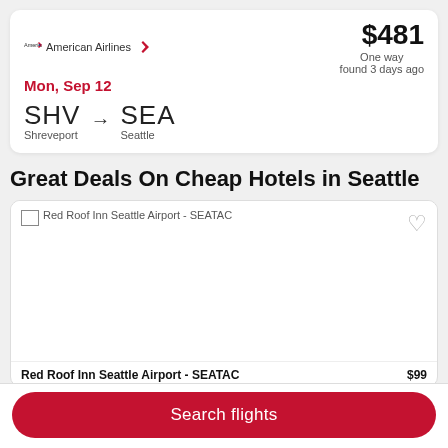[Figure (screenshot): American Airlines flight card showing SHV to SEA, Mon Sep 12, $481 one way, found 3 days ago]
Great Deals On Cheap Hotels in Seattle
[Figure (photo): Red Roof Inn Seattle Airport - SEATAC hotel image (broken/loading) with heart icon]
Red Roof Inn Seattle Airport - SEATAC  $99
Search flights